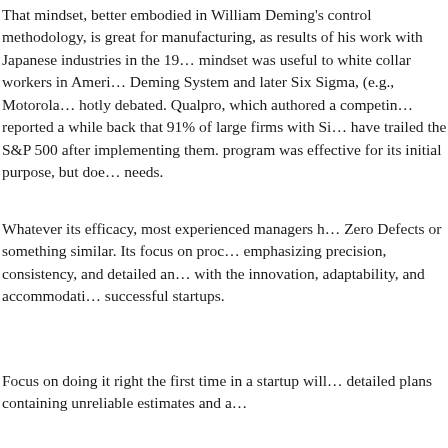That mindset, better embodied in William Deming's control methodology, is great for manufacturing, as results of his work with Japanese industries in the 1950s mindset was useful to white collar workers in America. Deming System and later Six Sigma, (e.g., Motorola) is hotly debated. Qualpro, which authored a competing study, reported a while back that 91% of large firms with Six Sigma have trailed the S&P 500 after implementing them. The program was effective for its initial purpose, but doesn't fit needs.
Whatever its efficacy, most experienced managers have seen Zero Defects or something similar. Its focus on process, emphasizing precision, consistency, and detailed analysis, clashes with the innovation, adaptability, and accommodation needed by successful startups.
Focus on doing it right the first time in a startup will lead to detailed plans containing unreliable estimates and a